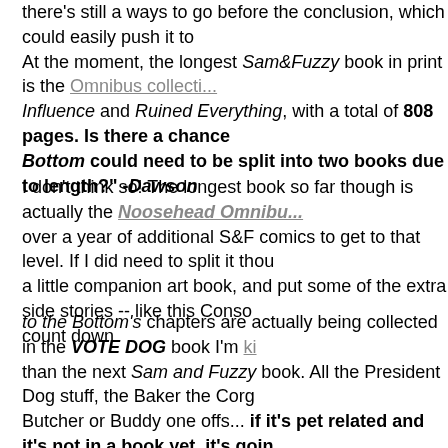there's still a ways to go before the conclusion, which could easily push it to... At the moment, the longest Sam&Fuzzy book in print is the Omnibus collection... Influence and Ruined Everything, with a total of 808 pages. Is there a chance... Bottom could need to be split into two books due to length?" -Dawson
I don't think so! The longest book so far though is actually the Noosehead Omnibu... over a year of additional S&F comics to get to that level. If I did need to split it thou... a little companion art book, and put some of the extra side stories -- like this Conso... count down.
That said... I'm not sure what you included in your count, but quite a few of the com... to the Bottom's chapters are actually being collected in the VOTE DOG book I'm ki... than the next Sam and Fuzzy book. All the President Dog stuff, the Baker the Corg... Butcher or Buddy one offs... if it's pet related and it's not in a book yet, it's goin...
That will help keep S&F Vol. 6's length under control! And it also lets me make a ra... has almost no overlap with the S&F books. (So if you like those comics, be sure to... because that's where they are all going!)
"I just finished reading through the archive (got to have everything fresh in m... wondered, how precisely do you remember it all?
Also, it was really interesting to read all of the newsposts from the last 16 yea...